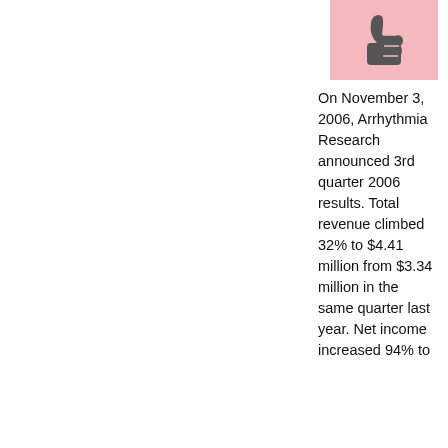[Figure (illustration): Thumbs up icon on a pink/red background]
On November 3, 2006, Arrhythmia Research announced 3rd quarter 2006 results. Total revenue climbed 32% to $4.41 million from $3.34 million in the same quarter last year. Net income increased 94% to